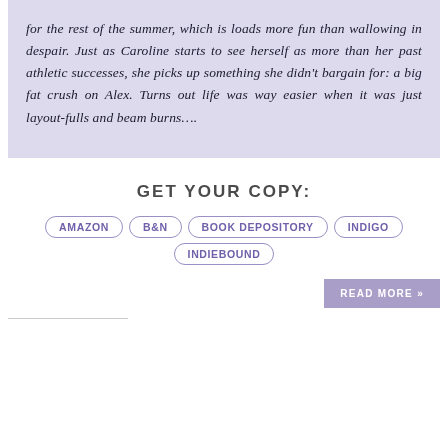for the rest of the summer, which is loads more fun than wallowing in despair. Just as Caroline starts to see herself as more than her past athletic successes, she picks up something she didn't bargain for: a big fat crush on Alex. Turns out life was way easier when it was just layout-fulls and beam burns….
GET YOUR COPY:
AMAZON
B&N
BOOK DEPOSITORY
INDIGO
INDIEBOUND
READ MORE »